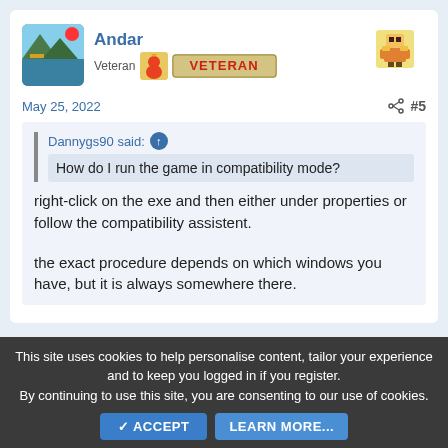Andar
Veteran
May 25, 2022
#5
Dannygs90 said:
How do I run the game in compatibility mode?
right-click on the exe and then either under properties or follow the compatibility assistent.
the exact procedure depends on which windows you have, but it is always somewhere there.
This site uses cookies to help personalise content, tailor your experience and to keep you logged in if you register.
By continuing to use this site, you are consenting to our use of cookies.
ACCEPT
LEARN MORE...